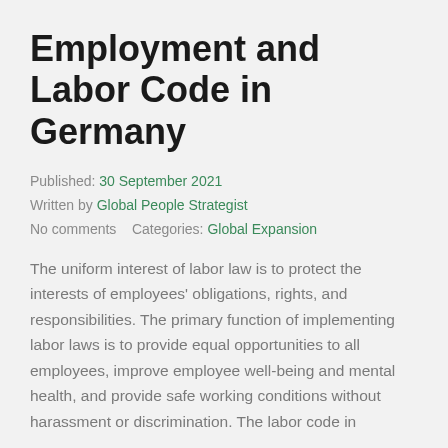Employment and Labor Code in Germany
Published: 30 September 2021
Written by Global People Strategist
No comments   Categories: Global Expansion
The uniform interest of labor law is to protect the interests of employees' obligations, rights, and responsibilities. The primary function of implementing labor laws is to provide equal opportunities to all employees, improve employee well-being and mental health, and provide safe working conditions without harassment or discrimination. The labor code in